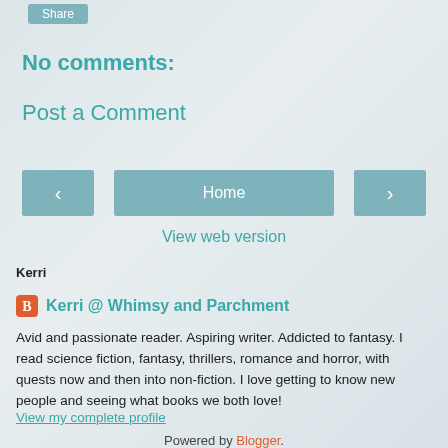Share
No comments:
Post a Comment
< Home >
View web version
Kerri
Kerri @ Whimsy and Parchment
Avid and passionate reader. Aspiring writer. Addicted to fantasy. I read science fiction, fantasy, thrillers, romance and horror, with quests now and then into non-fiction. I love getting to know new people and seeing what books we both love!
View my complete profile
Powered by Blogger.